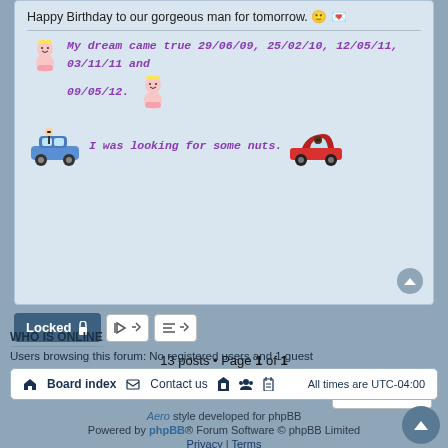Happy Birthday to our gorgeous man for tomorrow. 🙂 ❤️
My dream came true 29/06/09, 25/02/10, 12/05/11, 03/11/11 and 09/05/12.
I was looking for some nuts.
Locked
13 posts • Page 1 of 1
Jump to
WHO IS ONLINE
Users browsing this forum: No registered users and 1 guest
Board index   Contact us   All times are UTC-04:00
Aero style developed for phpBB
Powered by phpBB® Forum Software © phpBB Limited
Privacy | Terms